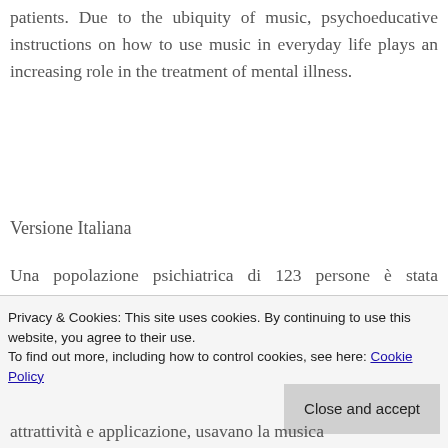patients. Due to the ubiquity of music, psychoeducative instructions on how to use music in everyday life plays an increasing role in the treatment of mental illness.
Versione Italiana
Una popolazione psichiatrica di 123 persone è stata esaminata per indagare il modo in cui le loro
Privacy & Cookies: This site uses cookies. By continuing to use this website, you agree to their use. To find out more, including how to control cookies, see here: Cookie Policy
attrattività e applicazione, usavano la musica